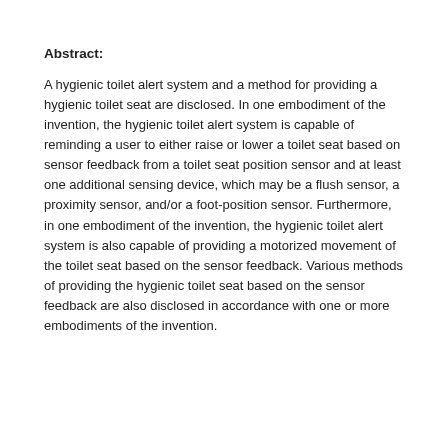Abstract:
A hygienic toilet alert system and a method for providing a hygienic toilet seat are disclosed. In one embodiment of the invention, the hygienic toilet alert system is capable of reminding a user to either raise or lower a toilet seat based on sensor feedback from a toilet seat position sensor and at least one additional sensing device, which may be a flush sensor, a proximity sensor, and/or a foot-position sensor. Furthermore, in one embodiment of the invention, the hygienic toilet alert system is also capable of providing a motorized movement of the toilet seat based on the sensor feedback. Various methods of providing the hygienic toilet seat based on the sensor feedback are also disclosed in accordance with one or more embodiments of the invention.